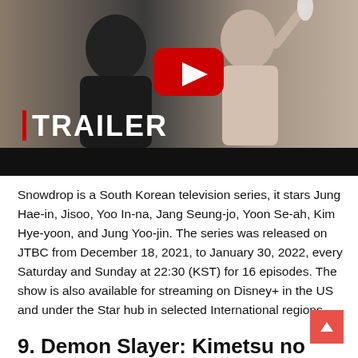[Figure (screenshot): YouTube video thumbnail for Snowdrop trailer. Shows two people (a young man and woman) with a YouTube play button in the center. Bold white text reads '| TRAILER' with a red vertical bar. Bottom portion has a black bar.]
Snowdrop is a South Korean television series, it stars Jung Hae-in, Jisoo, Yoo In-na, Jang Seung-jo, Yoon Se-ah, Kim Hye-yoon, and Jung Yoo-jin. The series was released on JTBC from December 18, 2021, to January 30, 2022, every Saturday and Sunday at 22:30 (KST) for 16 episodes. The show is also available for streaming on Disney+ in the US and under the Star hub in selected International regions.
9. Demon Slayer: Kimetsu no